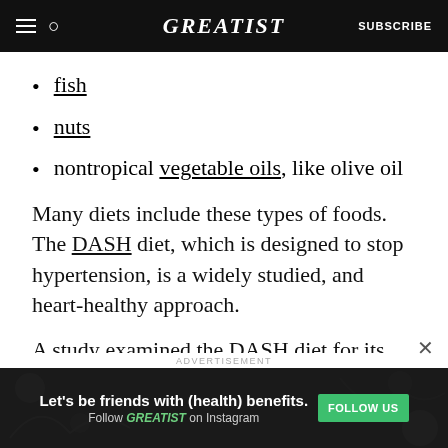GREATIST | SUBSCRIBE
fish
nuts
nontropical vegetable oils, like olive oil
Many diets include these types of foods. The DASH diet, which is designed to stop hypertension, is a widely studied, and heart-healthy approach.
A study examined the DASH diet for its effects on cardiometabolic risk factors, including lipid
ADVERTISEMENT
Let's be friends with (health) benefits. Follow GREATIST on Instagram FOLLOW US